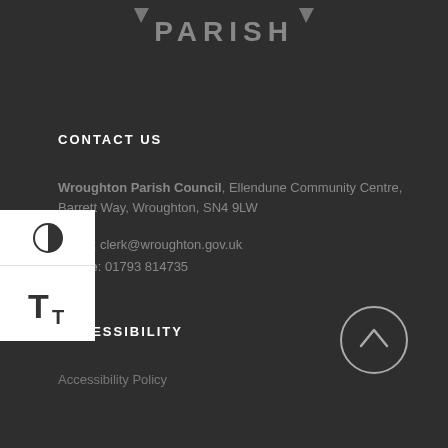[Figure (logo): Parish logo text with decorative arrows]
CONTACT US
Wroughton Parish Council, Ellendune Community Centre, Barrett Way, Wroughton, SN4 9LW
Email: clerk@wroughton.gov.uk
Phone: 01793 814735
ACCESSIBILITY
Accessibility Policy
[Figure (infographic): Scroll to top circular button with upward arrow]